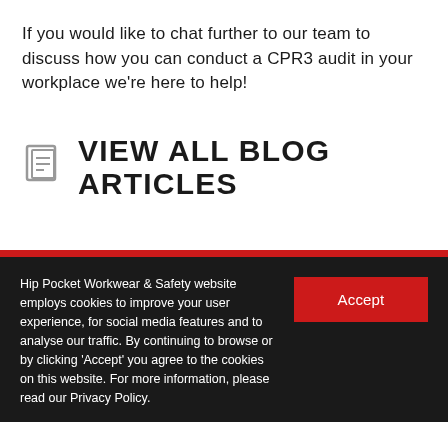If you would like to chat further to our team to discuss how you can conduct a CPR3 audit in your workplace we're here to help!
VIEW ALL BLOG ARTICLES
Hip Pocket Workwear & Safety website employs cookies to improve your user experience, for social media features and to analyse our traffic. By continuing to browse or by clicking 'Accept' you agree to the cookies on this website. For more information, please read our Privacy Policy.
Accept